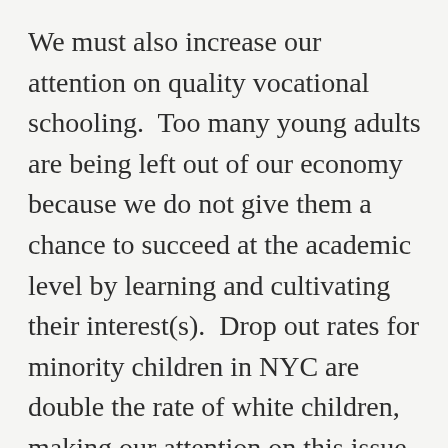We must also increase our attention on quality vocational schooling.  Too many young adults are being left out of our economy because we do not give them a chance to succeed at the academic level by learning and cultivating their interest(s).  Drop out rates for minority children in NYC are double the rate of white children, making our attention on this issue pivotal.  We will bring these changes, along with Culturally Relevant Teaching. I also demand the